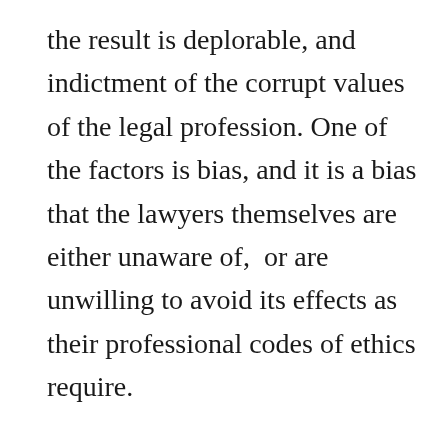the result is deplorable, and indictment of the corrupt values of the legal profession. One of the factors is bias, and it is a bias that the lawyers themselves are either unaware of,  or are unwilling to avoid its effects as their professional codes of ethics require.

The majority of high-powered lawyers hail from urban centers where liberal culture flourishes among the wealthy, the